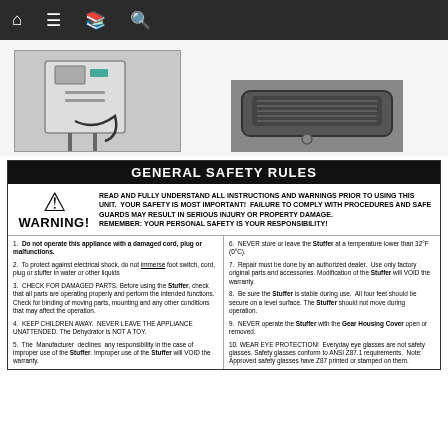Navigation bar with home, menu, book, and search icons
[Figure (photo): Photo of an electrical control box/panel with wires and mounting poles]
[Figure (photo): Photo of a black foot switch/pedal device]
GENERAL SAFETY RULES
WARNING! READ AND FULLY UNDERSTAND ALL INSTRUCTIONS AND WARNINGS PRIOR TO USING THIS UNIT. YOUR SAFETY IS MOST IMPORTANT! FAILURE TO COMPLY WITH PROCEDURES AND SAFE GUARDS MAY RESULT IN SERIOUS INJURY OR PROPERTY DAMAGE. REMEMBER: YOUR PERSONAL SAFETY IS YOUR RESPONSIBILITY!
1. Do not operate this appliance with a damaged cord, plug or malfunctions.
2. To protect against electrical shock, do not immerse foot switch, cord, plug or stuffer in water or other liquids
3. CHECK FOR DAMAGED PARTS. Before using the Stuffer, check that all parts are operating properly and perform the intended functions. Check for binding of moving parts, mounting and any other conditions that may affect the operation.
4. KEEP CHILDREN AWAY. NEVER LEAVE THE APPLIANCE UNATTENDED. The Dehydrator is NOT A TOY.
5. The Manufacturer declines any responsibility in the case of improper use of the Stuffer. Improper use of the Stuffer will VOID the warranty.
6. NEVER store or leave the Stuffer at a temperature lower than 32°F (0°C).
7. Repair must be done by an authorized dealer. Use only factory original parts and accessories. Modification of the Stuffer will VOID the warranty.
8. Be sure the Stuffer is stable during use. All four feet should be secure on a level surface. The Stuffer should not move during operation.
9. NEVER operate the Stuffer with the Gear Housing Cover open or removed.
10. WEAR EYE PROTECTION! Everyday eye glasses are not safety glasses. Safety glasses conform to ANSI Z87.1 requirements. Note: Approved safety glasses have Z87 printed or stamped on them.